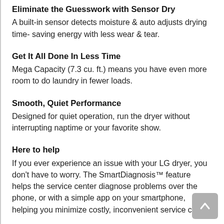Eliminate the Guesswork with Sensor Dry
A built-in sensor detects moisture & auto adjusts drying time- saving energy with less wear & tear.
Get It All Done In Less Time
Mega Capacity (7.3 cu. ft.) means you have even more room to do laundry in fewer loads.
Smooth, Quiet Performance
Designed for quiet operation, run the dryer without interrupting naptime or your favorite show.
Here to help
If you ever experience an issue with your LG dryer, you don't have to worry. The SmartDiagnosis™ feature helps the service center diagnose problems over the phone, or with a simple app on your smartphone, helping you minimize costly, inconvenient service calls.